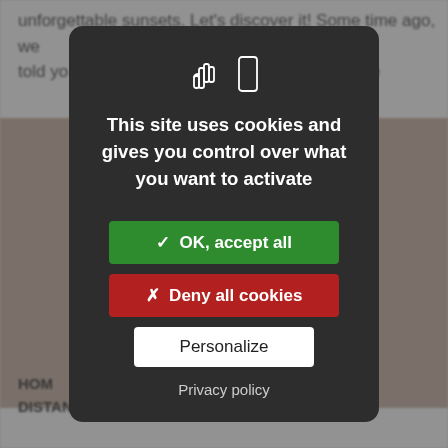unforgettable sunsets. Let's discover it! Some time ago, we told yo... blue
[Figure (photo): Background photo of an interior room visible behind the cookie consent modal overlay]
This site uses cookies and gives you control over what you want to activate
✓ OK, accept all
✗ Deny all cookies
Personalize
Privacy policy
HOME... DISTANCE FROM THE TRASIMENO LAKE